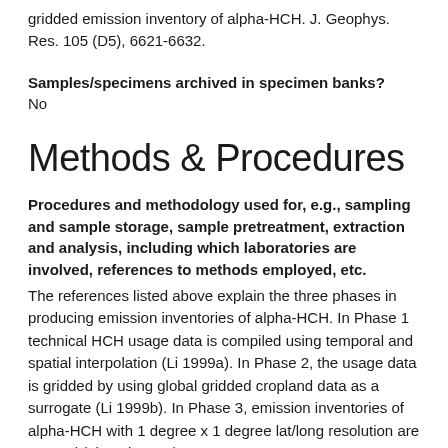gridded emission inventory of alpha-HCH. J. Geophys. Res. 105 (D5), 6621-6632.
Samples/specimens archived in specimen banks?
No
Methods & Procedures
Procedures and methodology used for, e.g., sampling and sample storage, sample pretreatment, extraction and analysis, including which laboratories are involved, references to methods employed, etc.
The references listed above explain the three phases in producing emission inventories of alpha-HCH. In Phase 1 technical HCH usage data is compiled using temporal and spatial interpolation (Li 1999a). In Phase 2, the usage data is gridded by using global gridded cropland data as a surrogate (Li 1999b). In Phase 3, emission inventories of alpha-HCH with 1 degree x 1 degree lat/long resolution are created (Li et al. 2000).
QA/QC Information (what QA/QC procedures are implemented,